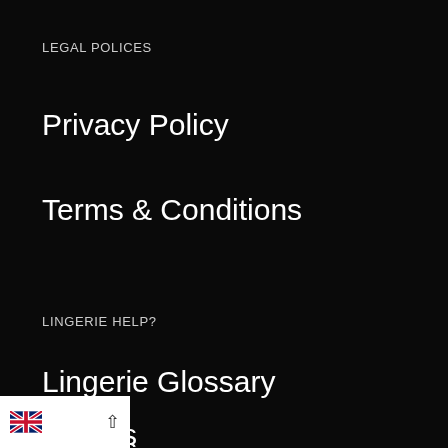LEGAL POLICES
Privacy Policy
Terms & Conditions
LINGERIE HELP?
Lingerie Glossary
Brands
Brands Sizing Guide
[Figure (other): UK flag icon with language selector chevron in white bar at bottom left]